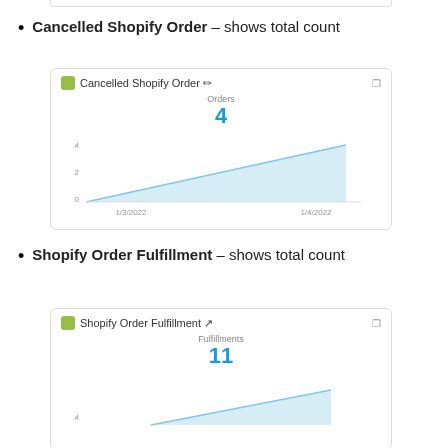Cancelled Shopify Order - shows total count
[Figure (area-chart): Cancelled Shopify Order]
Shopify Order Fulfillment - shows total count
[Figure (area-chart): Shopify Order Fulfillment]